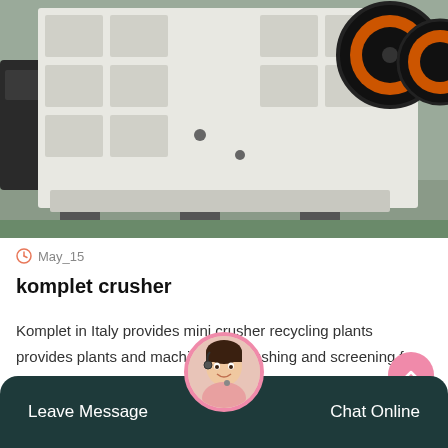[Figure (photo): Large industrial jaw crusher machine, white/grey metal frame with large orange-rimmed flywheel visible at top right, photographed outdoors in a yard with a truck in the background]
May_15
komplet crusher
Komplet in Italy provides mini crusher recycling plants provides plants and machines for crushing and screening for recycling rubble and other construction material directly in site. We are leader in th…